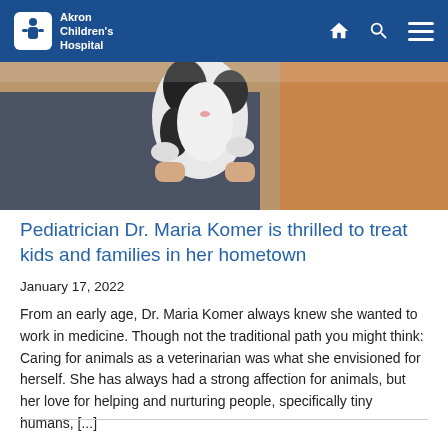Akron Children's Hospital
[Figure (photo): Person holding a black and white cat/kitten, wearing jeans and an orange/brown top, indoor setting]
Pediatrician Dr. Maria Komer is thrilled to treat kids and families in her hometown
January 17, 2022
From an early age, Dr. Maria Komer always knew she wanted to work in medicine. Though not the traditional path you might think: Caring for animals as a veterinarian was what she envisioned for herself. She has always had a strong affection for animals, but her love for helping and nurturing people, specifically tiny humans, [...]